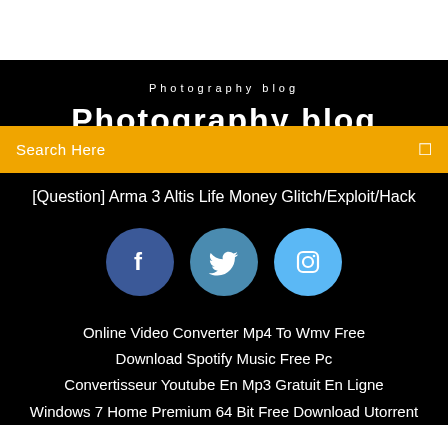Photography blog
Photography blog [partial title cut off]
Search Here
[Question] Arma 3 Altis Life Money Glitch/Exploit/Hack
[Figure (infographic): Three social media buttons: Facebook (dark blue circle with f icon), Twitter (medium blue circle with bird icon), Instagram (light blue circle with camera icon)]
Online Video Converter Mp4 To Wmv Free
Download Spotify Music Free Pc
Convertisseur Youtube En Mp3 Gratuit En Ligne
Windows 7 Home Premium 64 Bit Free Download Utorrent